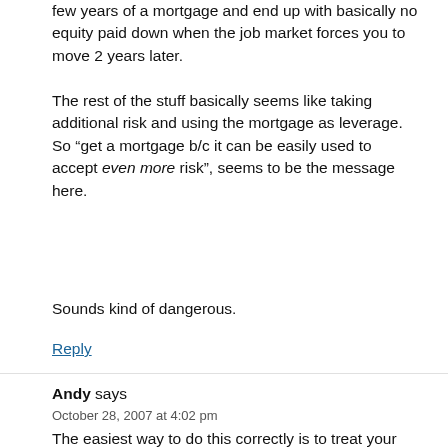few years of a mortgage and end up with basically no equity paid down when the job market forces you to move 2 years later.
The rest of the stuff basically seems like taking additional risk and using the mortgage as leverage. So “get a mortgage b/c it can be easily used to accept even more risk”, seems to be the message here.
Sounds kind of dangerous.
Reply
Andy says
October 28, 2007 at 4:02 pm
The easiest way to do this correctly is to treat your mortgage like a bond. Then pick an asset allocation but instead of buying bonds pay off